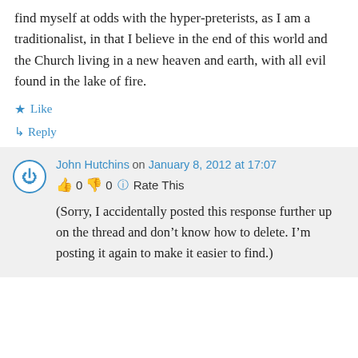find myself at odds with the hyper-preterists, as I am a traditionalist, in that I believe in the end of this world and the Church living in a new heaven and earth, with all evil found in the lake of fire.
★ Like
↳ Reply
John Hutchins on January 8, 2012 at 17:07
👍 0 👎 0 ℹ Rate This
(Sorry, I accidentally posted this response further up on the thread and don't know how to delete. I'm posting it again to make it easier to find.)